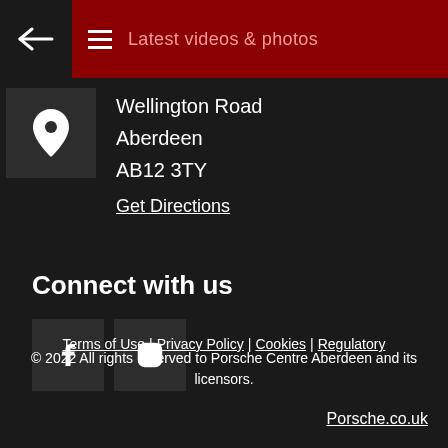Latest videos & photos
Wellington Road
Aberdeen
AB12 3TY
Get Directions
Connect with us
[Figure (other): Facebook and Instagram social media icon buttons]
Terms of Use | Privacy Policy | Cookies | Regulatory
© 2022 All rights reserved to Porsche Centre Aberdeen and its licensors.
Porsche.co.uk